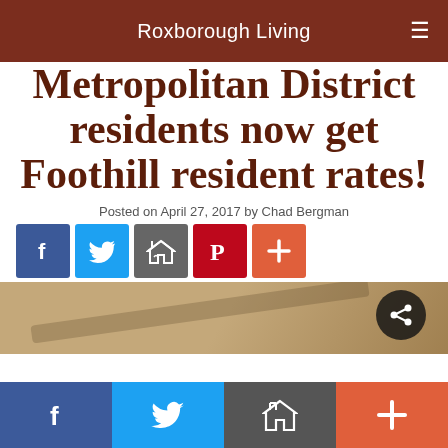Roxborough Living
Metropolitan District residents now get Foothill resident rates!
Posted on April 27, 2017 by Chad Bergman
[Figure (infographic): Social sharing icons row: Facebook (blue), Twitter (light blue), Email/house (gray), Pinterest (red), Plus (orange)]
[Figure (photo): Partial photo strip at bottom of article area, brownish sandy color, with a dark circular share button overlay on the right]
[Figure (infographic): Bottom social sharing bar with four buttons: Facebook (dark blue), Twitter (blue), Email/house (gray), Plus (coral/orange)]